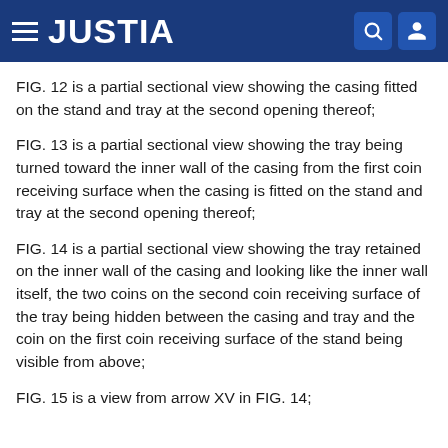JUSTIA
FIG. 12 is a partial sectional view showing the casing fitted on the stand and tray at the second opening thereof;
FIG. 13 is a partial sectional view showing the tray being turned toward the inner wall of the casing from the first coin receiving surface when the casing is fitted on the stand and tray at the second opening thereof;
FIG. 14 is a partial sectional view showing the tray retained on the inner wall of the casing and looking like the inner wall itself, the two coins on the second coin receiving surface of the tray being hidden between the casing and tray and the coin on the first coin receiving surface of the stand being visible from above;
FIG. 15 is a view from arrow XV in FIG. 14;